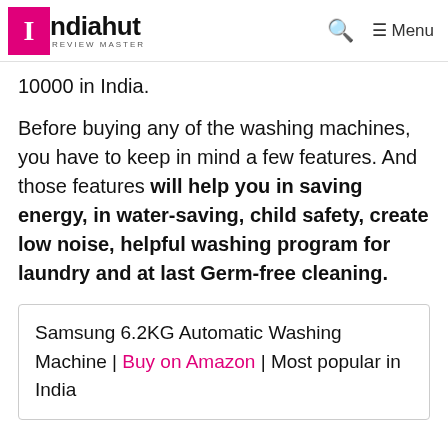Indiahut REVIEW MASTER
10000 in India.
Before buying any of the washing machines, you have to keep in mind a few features. And those features will help you in saving energy, in water-saving, child safety, create low noise, helpful washing program for laundry and at last Germ-free cleaning.
Samsung 6.2KG Automatic Washing Machine | Buy on Amazon | Most popular in India